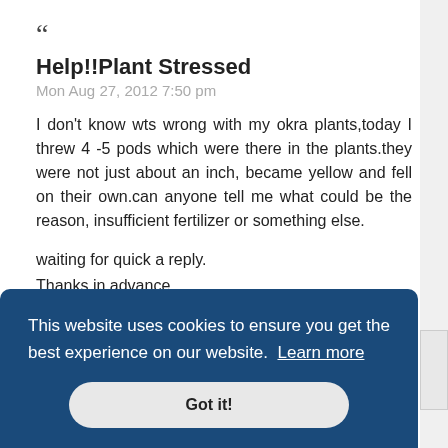“
Help!!Plant Stressed
Mon Aug 27, 2012 7:50 pm
I don't know wts wrong with my okra plants,today I threw 4 -5 pods which were there in the plants.they were not just about an inch, became yellow and fell on their own.can anyone tell me what could be the reason, insufficient fertilizer or something else.

waiting for quick a reply.
Thanks in advance.
This website uses cookies to ensure you get the best experience on our website. Learn more
Got it!
“